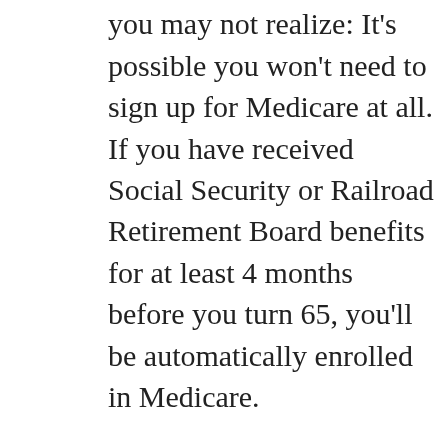confidence. A quick fact you may not realize: It's possible you won't need to sign up for Medicare at all. If you have received Social Security or Railroad Retirement Board benefits for at least 4 months before you turn 65, you'll be automatically enrolled in Medicare.
If you're not set up to enroll automatically, you'll need to sign up once you're eligible. Though Medicare isn't available for most people until the age of 65, you're able to sign up three months before your 65th birthday. Your coverage kicks in on the first day of the month you turn 65. You can enroll for Medicare online, over the phone, or in person at your local Social Security Office.
As part of your enrollment process, you'll need to decide if you want to start off with or without Part B. If you are already receiving medical coverage through an employer or a spouse, it may make sense